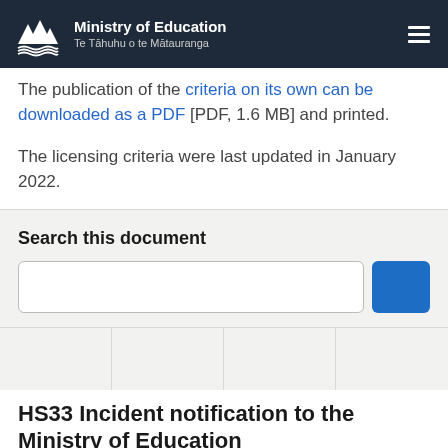Ministry of Education — Te Tāhuhu o te Mātauranga
The publication of the criteria on its own can be downloaded as a PDF [PDF, 1.6 MB] and printed.
The licensing criteria were last updated in January 2022.
Search this document
[Figure (other): Search input field with blue search button]
[Figure (other): Navigation grid with four cells]
HS33 Incident notification to the Ministry of Education